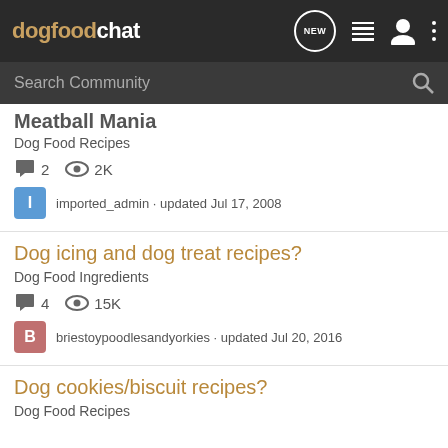dogfoodchat — navigation bar with NEW, list, user, and menu icons
Search Community
Meatball Mania
Dog Food Recipes
2 comments · 2K views
imported_admin · updated Jul 17, 2008
Dog icing and dog treat recipes?
Dog Food Ingredients
4 comments · 15K views
briestoypoodlesandyorkies · updated Jul 20, 2016
Dog cookies/biscuit recipes?
Dog Food Recipes